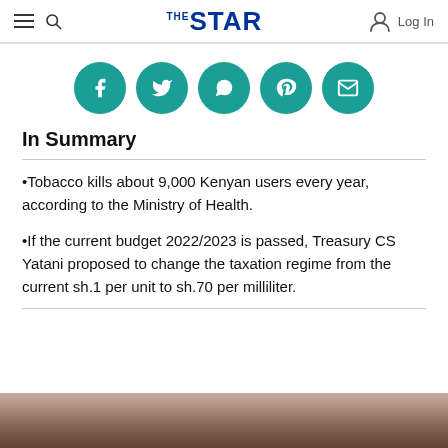The Star — navigation bar with hamburger menu, search icon, THE STAR logo, and Log In button
[Figure (infographic): Five teal circular social share buttons: Facebook (f), Twitter (bird), WhatsApp (phone), Pinterest (p), Email (envelope)]
In Summary
Tobacco kills about 9,000 Kenyan users every year, according to the Ministry of Health.
If the current budget 2022/2023 is passed, Treasury CS Yatani proposed to change the taxation regime from the current sh.1 per unit to sh.70 per milliliter.
[Figure (photo): Partial photo at bottom of page showing a person, partially cropped]